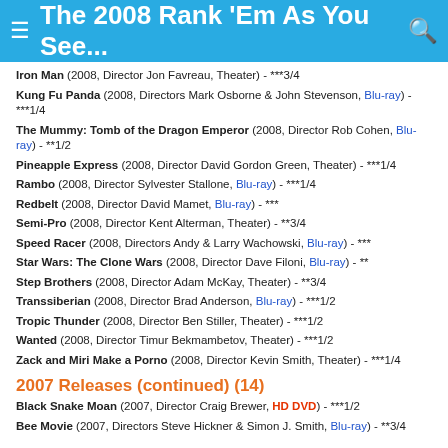The 2008 Rank 'Em As You See...
Iron Man (2008, Director Jon Favreau, Theater) - ***3/4
Kung Fu Panda (2008, Directors Mark Osborne & John Stevenson, Blu-ray) - ***1/4
The Mummy: Tomb of the Dragon Emperor (2008, Director Rob Cohen, Blu-ray) - **1/2
Pineapple Express (2008, Director David Gordon Green, Theater) - ***1/4
Rambo (2008, Director Sylvester Stallone, Blu-ray) - ***1/4
Redbelt (2008, Director David Mamet, Blu-ray) - ***
Semi-Pro (2008, Director Kent Alterman, Theater) - **3/4
Speed Racer (2008, Directors Andy & Larry Wachowski, Blu-ray) - ***
Star Wars: The Clone Wars (2008, Director Dave Filoni, Blu-ray) - **
Step Brothers (2008, Director Adam McKay, Theater) - **3/4
Transsiberian (2008, Director Brad Anderson, Blu-ray) - ***1/2
Tropic Thunder (2008, Director Ben Stiller, Theater) - ***1/2
Wanted (2008, Director Timur Bekmambetov, Theater) - ***1/2
Zack and Miri Make a Porno (2008, Director Kevin Smith, Theater) - ***1/4
2007 Releases (continued) (14)
Black Snake Moan (2007, Director Craig Brewer, HD DVD) - ***1/2
Bee Movie (2007, Directors Steve Hickner & Simon J. Smith, Blu-ray) - **3/4